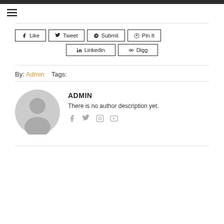[Figure (other): Hamburger menu icon (three horizontal lines)]
[Figure (other): Social share buttons: Like, Tweet, Submit, Pin It, Linkedin, Digg]
By: Admin    Tags:
[Figure (other): Author avatar placeholder (grey silhouette icon)]
ADMIN
There is no author description yet.
[Figure (other): Author social icons: Facebook, Twitter, Instagram, YouTube]